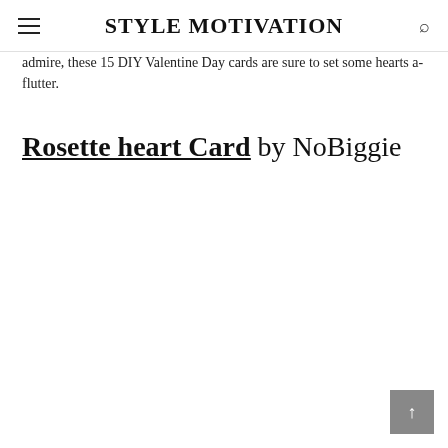STYLE MOTIVATION
admire, these 15 DIY Valentine Day cards are sure to set some hearts a-flutter.
Rosette heart Card by NoBiggie